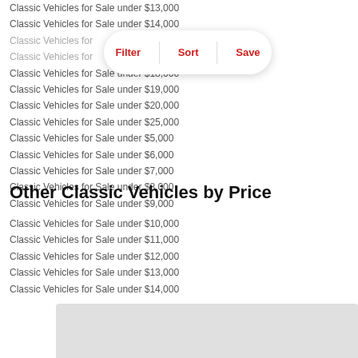Classic Vehicles for Sale under $13,000
Classic Vehicles for Sale under $14,000
Classic Vehicles for Sale under $15,000
Classic Vehicles for Sale under $16,000
Classic Vehicles for Sale under $18,000
Classic Vehicles for Sale under $19,000
Classic Vehicles for Sale under $20,000
Classic Vehicles for Sale under $25,000
Classic Vehicles for Sale under $5,000
Classic Vehicles for Sale under $6,000
Classic Vehicles for Sale under $7,000
Classic Vehicles for Sale under $8,000
Classic Vehicles for Sale under $9,000
Other Classic Vehicles by Price
Classic Vehicles for Sale under $10,000
Classic Vehicles for Sale under $11,000
Classic Vehicles for Sale under $12,000
Classic Vehicles for Sale under $13,000
Classic Vehicles for Sale under $14,000